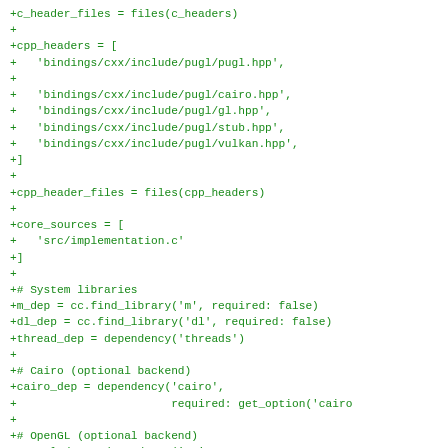+c_header_files = files(c_headers)
+
+cpp_headers = [
+   'bindings/cxx/include/pugl/pugl.hpp',
+
+   'bindings/cxx/include/pugl/cairo.hpp',
+   'bindings/cxx/include/pugl/gl.hpp',
+   'bindings/cxx/include/pugl/stub.hpp',
+   'bindings/cxx/include/pugl/vulkan.hpp',
+]
+
+cpp_header_files = files(cpp_headers)
+
+core_sources = [
+   'src/implementation.c'
+]
+
+# System libraries
+m_dep = cc.find_library('m', required: false)
+dl_dep = cc.find_library('dl', required: false)
+thread_dep = dependency('threads')
+
+# Cairo (optional backend)
+cairo_dep = dependency('cairo',
+                       required: get_option('cairo
+
+# OpenGL (optional backend)
+opengl_dep = dependency('GL',
+                       required: get_option('open
+